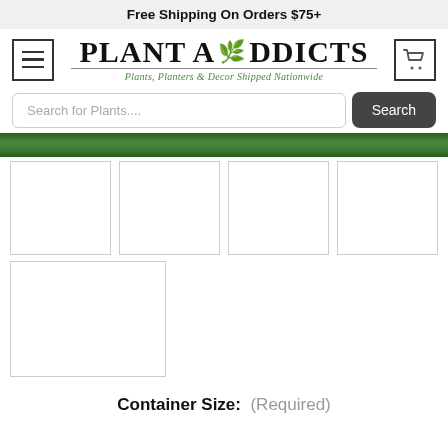Free Shipping On Orders $75+
[Figure (logo): Plant Addicts logo with leaf icon. Subtitle: Plants, Planters & Decor Shipped Nationwide]
Search for Plants....
[Figure (photo): Green plant foliage hero banner strip]
[Figure (photo): Grid of 5 empty white product image placeholders with light borders]
Container Size:  (Required)